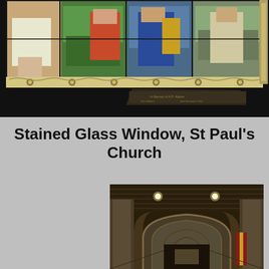[Figure (photo): Photograph of a stained glass window at St Paul's Church, showing colorful religious figures and ornate decorative border, with a memorial plaque below the window in a dark church interior.]
Stained Glass Window, St Paul's Church
[Figure (photo): Interior photograph of St Paul's Church showing Gothic arched ceiling with wooden rafters, stone arches, and church lighting, viewed from the nave looking toward the altar area.]